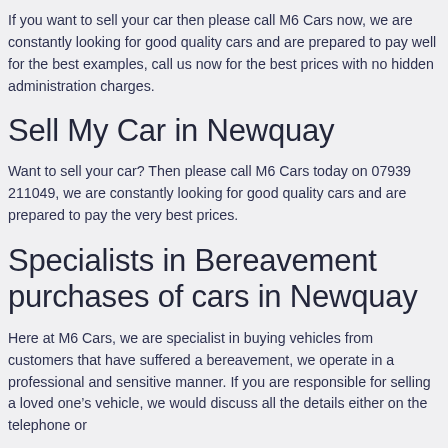If you want to sell your car then please call M6 Cars now, we are constantly looking for good quality cars and are prepared to pay well for the best examples, call us now for the best prices with no hidden administration charges.
Sell My Car in Newquay
Want to sell your car? Then please call M6 Cars today on 07939 211049, we are constantly looking for good quality cars and are prepared to pay the very best prices.
Specialists in Bereavement purchases of cars in Newquay
Here at M6 Cars, we are specialist in buying vehicles from customers that have suffered a bereavement, we operate in a professional and sensitive manner. If you are responsible for selling a loved one’s vehicle, we would discuss all the details either on the telephone or